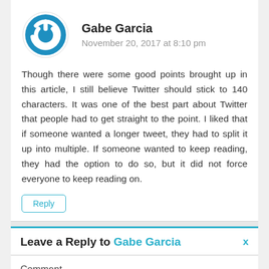[Figure (logo): Blue circular power button icon (avatar for Gabe Garcia)]
Gabe Garcia
November 20, 2017 at 8:10 pm
Though there were some good points brought up in this article, I still believe Twitter should stick to 140 characters. It was one of the best part about Twitter that people had to get straight to the point. I liked that if someone wanted a longer tweet, they had to split it up into multiple. If someone wanted to keep reading, they had the option to do so, but it did not force everyone to keep reading on.
Reply
Leave a Reply to Gabe Garcia
Comment